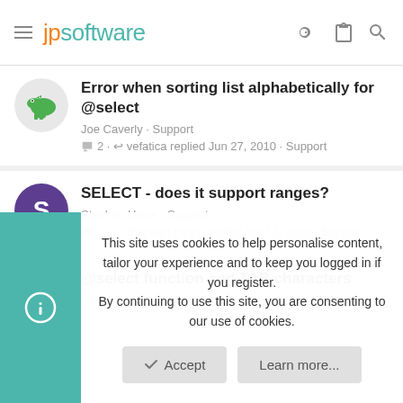jpsoftware
Error when sorting list alphabetically for @select
Joe Caverly · Support
2 · vefatica replied Jun 27, 2010 · Support
SELECT - does it support ranges?
Stephen Howe · Support
2 · Stephen Howe replied Apr 12, 2010 · Support
@select function and TAB characters
nikbackm · Support
This site uses cookies to help personalise content, tailor your experience and to keep you logged in if you register.
By continuing to use this site, you are consenting to our use of cookies.